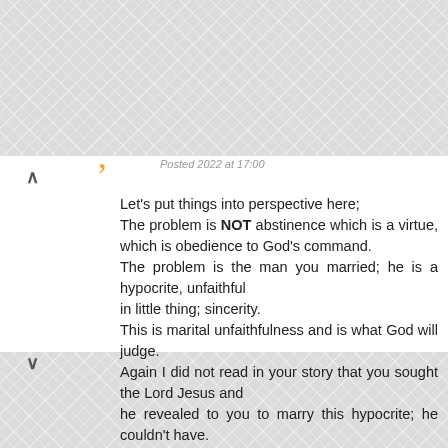Let's put things into perspective here;
The problem is NOT abstinence which is a virtue, which is obedience to God's command.
The problem is the man you married; he is a hypocrite, unfaithful
in little thing; sincerity.
This is marital unfaithfulness and is what God will judge.
Again I did not read in your story that you sought the Lord Jesus and
he revealed to you to marry this hypocrite; he couldn't have.
Seek the Lord and know what he wants you to do.